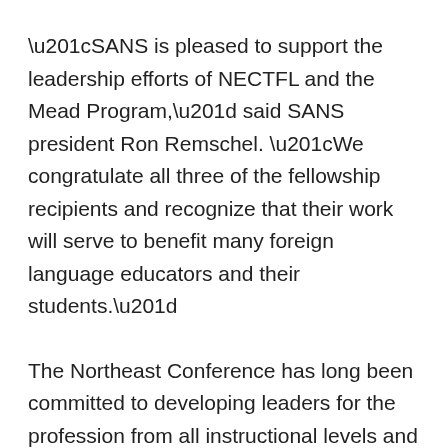“SANS is pleased to support the leadership efforts of NECTFL and the Mead Program,” said SANS president Ron Remschel. “We congratulate all three of the fellowship recipients and recognize that their work will serve to benefit many foreign language educators and their students.”
The Northeast Conference has long been committed to developing leaders for the profession from all instructional levels and languages. According to John Carlino, NECTFL’s director, “The Mead Fellowships constitute our signature program for ensuring that world language educators across the region have models to